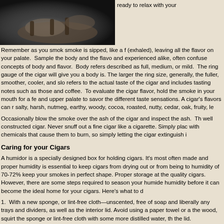[Figure (photo): Close-up photo of hands holding or lighting a cigar, dark background]
ready to relax with your
Remember as you smok smoke is sipped, like a f (exhaled), leaving all the flavor on your palate.  Sample the body and the flavo and experienced alike, often confuse concepts of body and flavor.  Body refers described as full, medium, or mild.  The ring gauge of the cigar will give you a body is. The larger the ring size, generally, the fuller, smoother, cooler, and slo refers to the actual taste of the cigar and includes tasting notes such as those and coffee.  To evaluate the cigar flavor, hold the smoke in your mouth for a fe and upper palate to savor the different taste sensations. A cigar's flavors can r salty, harsh, nutmeg, earthy, woody, cocoa, roasted, nutty, cedar, oak, fruity, le
Occasionally blow the smoke over the ash of the cigar and inspect the ash.  Th well constructed cigar. Never snuff out a fine cigar like a cigarette. Simply plac with chemicals that cause them to burn, so simply letting the cigar extinguish i
Caring for your Cigars
A humidor is a specially designed box for holding cigars. It's most often made and proper humidity is essential to keep cigars from drying out or from being to humidity of 70-72% keep your smokes in perfect shape. Proper storage at the quality cigars.  However, there are some steps required to season your humide humidity before it can become the ideal home for your cigars. Here's what to d
1.  With a new sponge, or lint-free cloth—unscented, free of soap and liberally any trays and dividers, as well as the interior lid. Avoid using a paper towel or a the wood, squirt the sponge or lint-free cloth with some more distilled water, th the lid.
2.  Next, prepare your humidification device according to the manufacturer's i